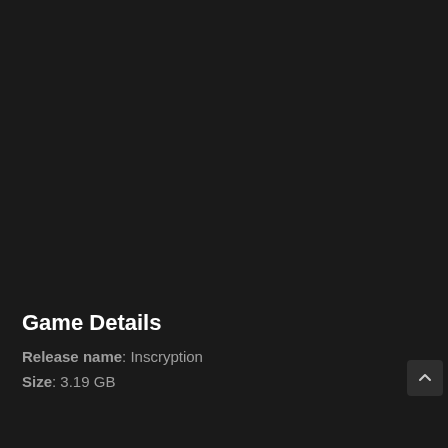Game Details
Release name: Inscryption
Size: 3.19 GB